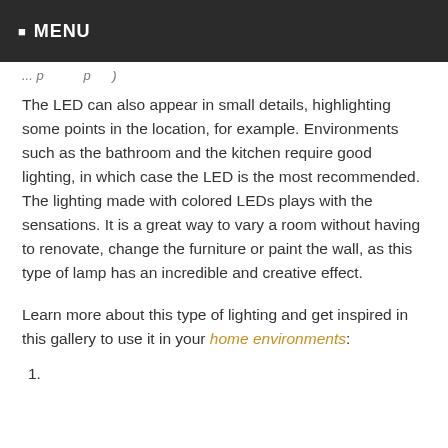☰ MENU
The LED can also appear in small details, highlighting some points in the location, for example. Environments such as the bathroom and the kitchen require good lighting, in which case the LED is the most recommended. The lighting made with colored LEDs plays with the sensations. It is a great way to vary a room without having to renovate, change the furniture or paint the wall, as this type of lamp has an incredible and creative effect.
Learn more about this type of lighting and get inspired in this gallery to use it in your home environments:
1.